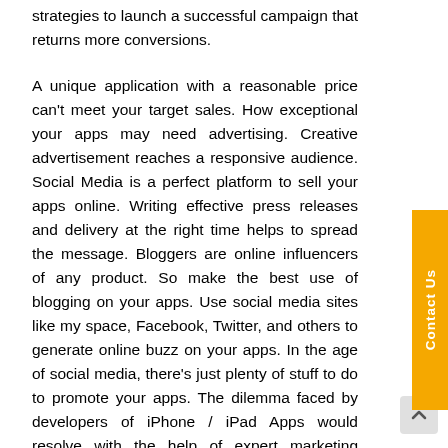strategies to launch a successful campaign that returns more conversions.
A unique application with a reasonable price can't meet your target sales. How exceptional your apps may need advertising. Creative advertisement reaches a responsive audience. Social Media is a perfect platform to sell your apps online. Writing effective press releases and delivery at the right time helps to spread the message. Bloggers are online influencers of any product. So make the best use of blogging on your apps. Use social media sites like my space, Facebook, Twitter, and others to generate online buzz on your apps. In the age of social media, there's just plenty of stuff to do to promote your apps. The dilemma faced by developers of iPhone / iPad Apps would resolve with the help of expert marketing services.
The application that is technically well advanced at a feasible price booms you forward. Create your brand to